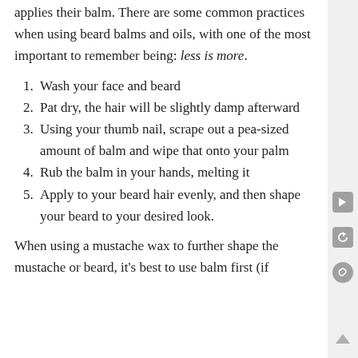wanting to know exactly how another person applies their balm. There are some common practices when using beard balms and oils, with one of the most important to remember being: less is more.
1. Wash your face and beard
2. Pat dry, the hair will be slightly damp afterward
3. Using your thumb nail, scrape out a pea-sized amount of balm and wipe that onto your palm
4. Rub the balm in your hands, melting it
5. Apply to your beard hair evenly, and then shape your beard to your desired look.
When using a mustache wax to further shape the mustache or beard, it's best to use balm first (if